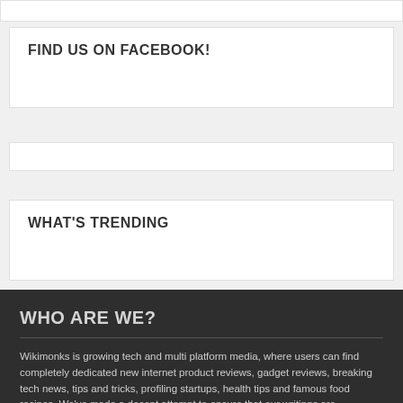FIND US ON FACEBOOK!
WHAT'S TRENDING
WHO ARE WE?
Wikimonks is growing tech and multi platform media, where users can find completely dedicated new internet product reviews, gadget reviews, breaking tech news, tips and tricks, profiling startups, health tips and famous food recipes. We've made a decent attempt to ensure that our writings are reasonable for